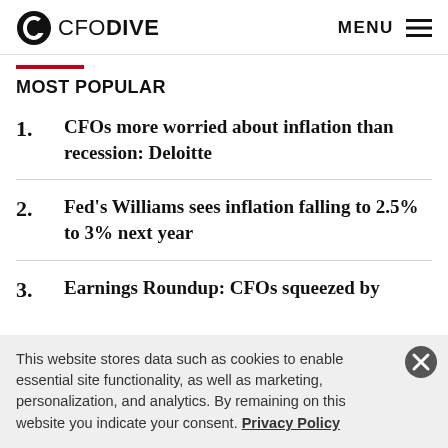CFO DIVE | MENU
MOST POPULAR
CFOs more worried about inflation than recession: Deloitte
Fed's Williams sees inflation falling to 2.5% to 3% next year
Earnings Roundup: CFOs squeezed by
This website stores data such as cookies to enable essential site functionality, as well as marketing, personalization, and analytics. By remaining on this website you indicate your consent. Privacy Policy